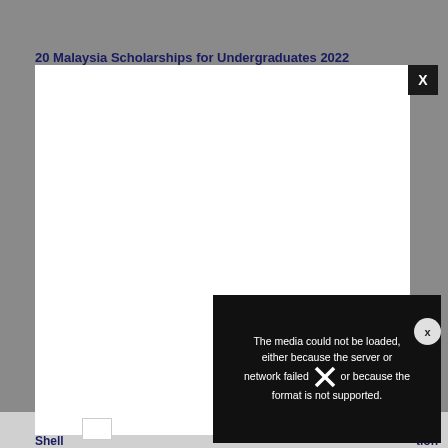20 Malaysia Scholarships for Undergraduates 2022
[Figure (screenshot): A white modal/lightbox overlay on a gray background, containing a black error panel with the message: The media could not be loaded, either because the server or network failed or because the format is not supported. There is also an X close button in the top-right corner of the modal, a circular X button on the right edge, and a large X icon overlaid on the error panel.]
The media could not be loaded, either because the server or network failed or because the format is not supported.
Shell
tion